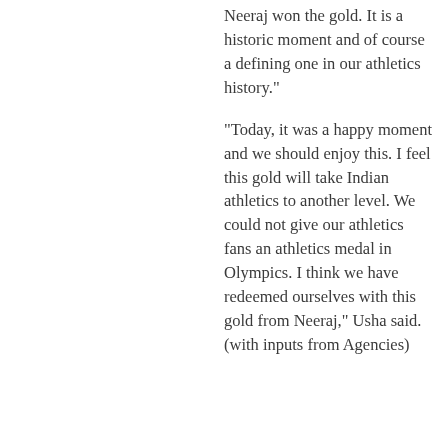Neeraj won the gold. It is a historic moment and of course a defining one in our athletics history."
"Today, it was a happy moment and we should enjoy this. I feel this gold will take Indian athletics to another level. We could not give our athletics fans an athletics medal in Olympics. I think we have redeemed ourselves with this gold from Neeraj," Usha said. (with inputs from Agencies)